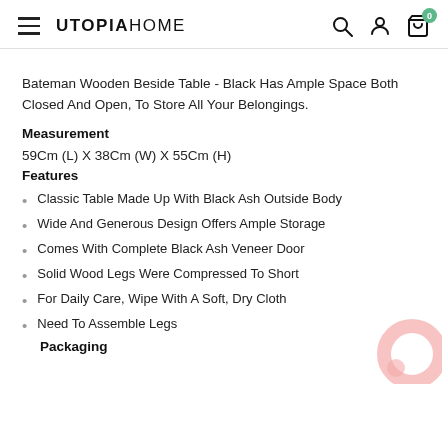UTOPIAHOME
Bateman Wooden Beside Table - Black Has Ample Space Both Closed And Open, To Store All Your Belongings.
Measurement
59Cm (L) X 38Cm (W) X 55Cm (H)
Features
Classic Table Made Up With Black Ash Outside Body
Wide And Generous Design Offers Ample Storage
Comes With Complete Black Ash Veneer Door
Solid Wood Legs Were Compressed To Short
For Daily Care, Wipe With A Soft, Dry Cloth
Need To Assemble Legs
Packaging